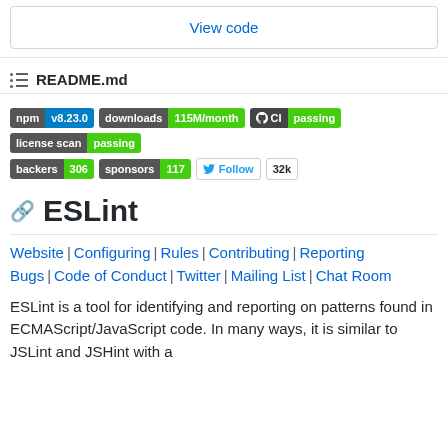View code
README.md
[Figure (other): Badges: npm v8.23.0, downloads 115M/month, CI passing, license scan passing, backers 306, sponsors 117, Twitter Follow 32k]
ESLint
Website | Configuring | Rules | Contributing | Reporting Bugs | Code of Conduct | Twitter | Mailing List | Chat Room
ESLint is a tool for identifying and reporting on patterns found in ECMAScript/JavaScript code. In many ways, it is similar to JSLint and JSHint with a